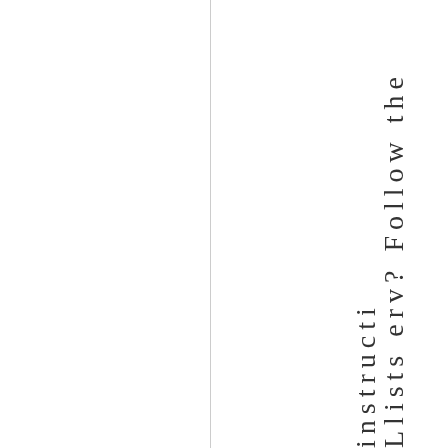Llists erv? Follow the instructi